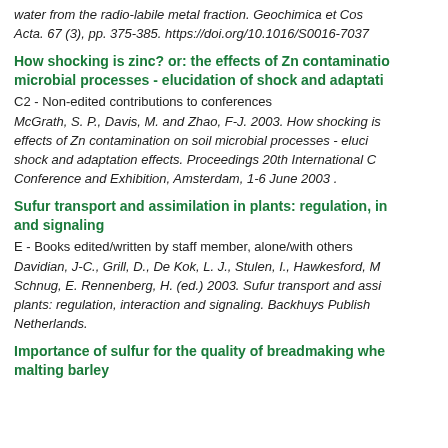water from the radio-labile metal fraction. Geochimica et Cosmochimica Acta. 67 (3), pp. 375-385. https://doi.org/10.1016/S0016-7037...
How shocking is zinc? or: the effects of Zn contamination on soil microbial processes - elucidation of shock and adaptation effects
C2 - Non-edited contributions to conferences
McGrath, S. P., Davis, M. and Zhao, F-J. 2003. How shocking is zinc? or: the effects of Zn contamination on soil microbial processes - elucidation of shock and adaptation effects. Proceedings 20th International Conference and Exhibition, Amsterdam, 1-6 June 2003 .
Sufur transport and assimilation in plants: regulation, interaction and signaling
E - Books edited/written by staff member, alone/with others
Davidian, J-C., Grill, D., De Kok, L. J., Stulen, I., Hawkesford, M., Schnug, E. Rennenberg, H. (ed.) 2003. Sufur transport and assimilation in plants: regulation, interaction and signaling. Backhuys Publishers, Netherlands.
Importance of sulfur for the quality of breadmaking wheat and malting barley